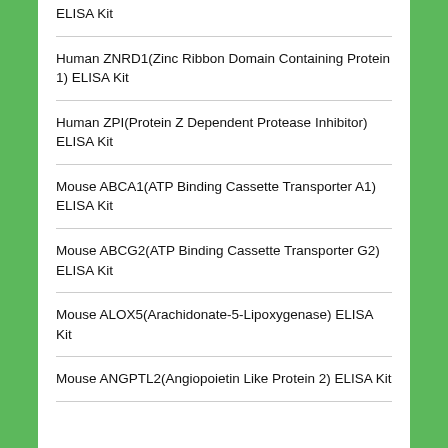ELISA Kit
Human ZNRD1(Zinc Ribbon Domain Containing Protein 1) ELISA Kit
Human ZPI(Protein Z Dependent Protease Inhibitor) ELISA Kit
Mouse ABCA1(ATP Binding Cassette Transporter A1) ELISA Kit
Mouse ABCG2(ATP Binding Cassette Transporter G2) ELISA Kit
Mouse ALOX5(Arachidonate-5-Lipoxygenase) ELISA Kit
Mouse ANGPTL2(Angiopoietin Like Protein 2) ELISA Kit